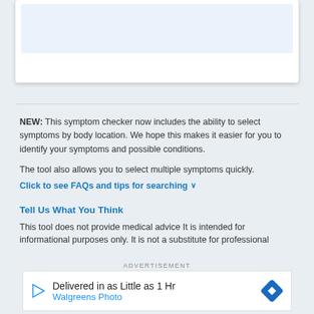[Figure (screenshot): White card with light blue inner rectangle representing a UI element at the top of the page]
NEW: This symptom checker now includes the ability to select symptoms by body location. We hope this makes it easier for you to identify your symptoms and possible conditions.
The tool also allows you to select multiple symptoms quickly.
Click to see FAQs and tips for searching ∨
Tell Us What You Think
This tool does not provide medical advice It is intended for informational purposes only. It is not a substitute for professional
ADVERTISEMENT
[Figure (screenshot): Advertisement banner: Delivered in as Little as 1 Hr - Walgreens Photo, with play icon and blue diamond navigation icon]